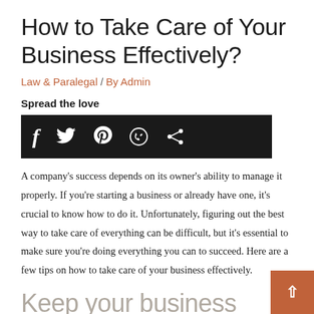How to Take Care of Your Business Effectively?
Law & Paralegal / By Admin
Spread the love
[Figure (infographic): Social sharing bar with icons for Facebook, Twitter, Pinterest, WhatsApp, and Share on a black background]
A company's success depends on its owner's ability to manage it properly. If you're starting a business or already have one, it's crucial to know how to do it. Unfortunately, figuring out the best way to take care of everything can be difficult, but it's essential to make sure you're doing everything you can to succeed. Here are a few tips on how to take care of your business effectively.
Keep your business organized
Any business owner will tell you that organization is key to